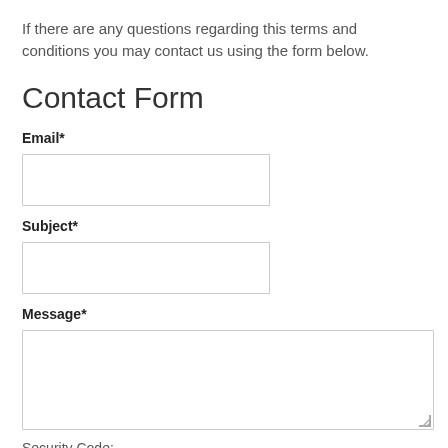If there are any questions regarding this terms and conditions you may contact us using the form below.
Contact Form
Email*
[Figure (other): Empty email input text box]
Subject*
[Figure (other): Empty subject input text box]
Message*
[Figure (other): Empty message textarea box with resize handle]
Security Code:
[Figure (other): Black bar below Security Code label]